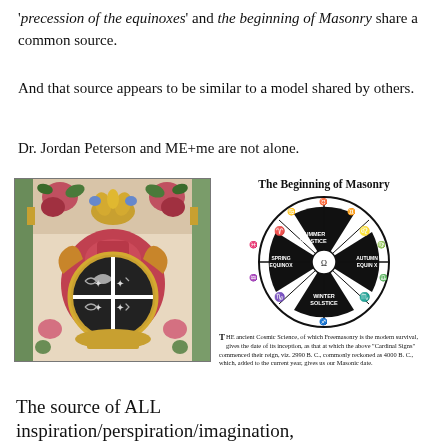'precession of the equinoxes' and the beginning of Masonry share a common source.
And that source appears to be similar to a model shared by others.
Dr. Jordan Peterson and ME+me are not alone.
[Figure (photo): Decorative painted panel with floral motifs, columns, and a circular heraldic emblem featuring a cross-quartered shield design in black and gold.]
[Figure (illustration): Circular wheel diagram titled 'The Beginning of Masonry' showing zodiac-like sections with Summer Solstice, Spring Equinox, Autumn Equinox, and Winter Solstice marked, surrounded by symbolic imagery.]
THE ancient Cosmic Science, of which Freemasonry is the modern survival, gives the date of its inception, as that at which the above "Cardinal Signs" commenced their reign, viz. 2990 B. C., commonly reckoned as 4000 B. C., which, added to the current year, gives us our Masonic date.
The source of ALL inspiration/perspiration/imagination,